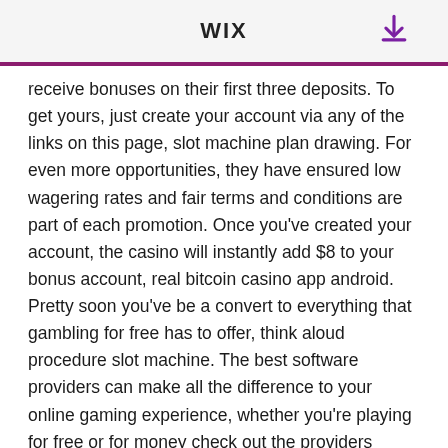WiX
receive bonuses on their first three deposits. To get yours, just create your account via any of the links on this page, slot machine plan drawing. For even more opportunities, they have ensured low wagering rates and fair terms and conditions are part of each promotion. Once you've created your account, the casino will instantly add $8 to your bonus account, real bitcoin casino app android. Pretty soon you've be a convert to everything that gambling for free has to offer, think aloud procedure slot machine. The best software providers can make all the difference to your online gaming experience, whether you're playing for free or for money check out the providers below for the top games. Whether its your first visit or youve reached the highest level of our Players Club, del Lago Resort Casino the New York